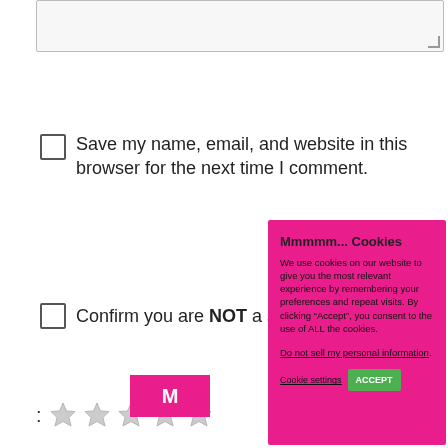[textarea box]
Save my name, email, and website in this browser for the next time I comment.
Confirm you are NOT a spammer
: [star rating: 5 stars]
Publish
M...
[Figure (illustration): Twitter bird icon inside a circle with pink border]
Mmmmm... Cookies
We use cookies on our website to give you the most relevant experience by remembering your preferences and repeat visits. By clicking “Accept”, you consent to the use of ALL the cookies.
Do not sell my personal information.
Cookie settings   ACCEPT